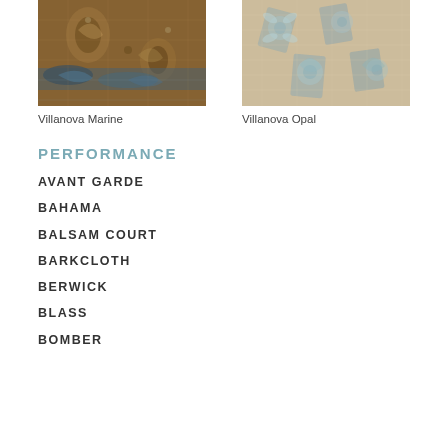[Figure (photo): Close-up photo of Villanova Marine fabric with brown and blue floral/damask pattern]
Villanova Marine
[Figure (photo): Close-up photo of Villanova Opal fabric with tan and blue-grey floral/damask pattern]
Villanova Opal
PERFORMANCE
AVANT GARDE
BAHAMA
BALSAM COURT
BARKCLOTH
BERWICK
BLASS
BOMBER